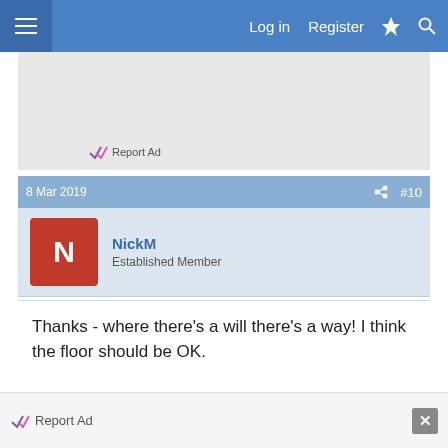Log in  Register
[Figure (screenshot): Advertisement area with Report Ad link]
Report Ad
8 Mar 2019  #10
NickM
Established Member
Thanks - where there's a will there's a way! I think the floor should be OK.
Report Ad